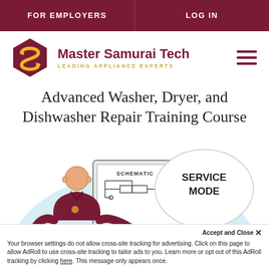FOR EMPLOYERS | LOG IN
[Figure (logo): Master Samurai Tech logo with hexagon icon and text 'Master Samurai Tech – Leading Appliance Experts']
Advanced Washer, Dryer, and Dishwasher Repair Training Course
[Figure (illustration): Illustration of a technician in red polo shirt pointing at a schematic diagram on a monitor with a speech bubble showing 'SERVICE MODE' and a laptop showing 'ERROR CODE']
Accept and Close ✕
Your browser settings do not allow cross-site tracking for advertising. Click on this page to allow AdRoll to use cross-site tracking to tailor ads to you. Learn more or opt out of this AdRoll tracking by clicking here. This message only appears once.